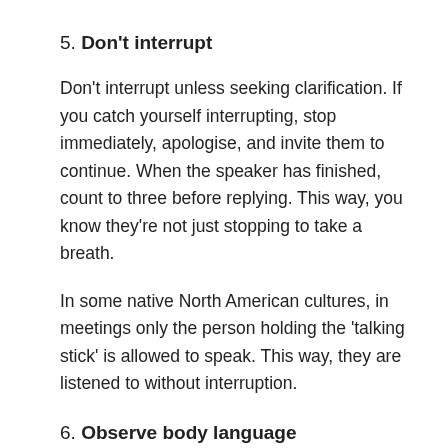5. Don't interrupt
Don't interrupt unless seeking clarification. If you catch yourself interrupting, stop immediately, apologise, and invite them to continue. When the speaker has finished, count to three before replying. This way, you know they're not just stopping to take a breath.
In some native North American cultures, in meetings only the person holding the ‘talking stick’ is allowed to speak. This way, they are listened to without interruption.
6. Observe body language
Reading body language is essential to pick up the message behind the words. Remember, there